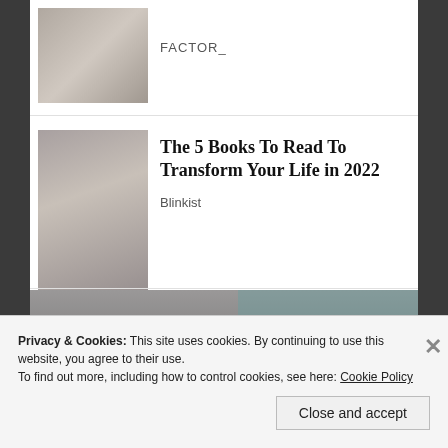[Figure (photo): Small thumbnail image showing food and a person, top article card]
FACTOR_
[Figure (photo): Portrait thumbnail of a person with glasses and long hair]
The 5 Books To Read To Transform Your Life in 2022
Blinkist
[Figure (photo): Large photo of two people wearing sunglasses sitting in what appears to be stadium seating, man in suit on left, woman with long hair on right]
Privacy & Cookies: This site uses cookies. By continuing to use this website, you agree to their use.
To find out more, including how to control cookies, see here: Cookie Policy
Close and accept